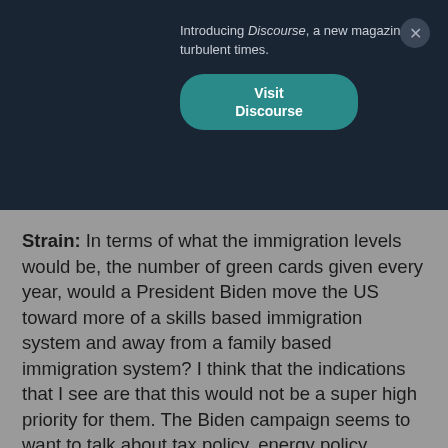Introducing Discourse, a new magazine for turbulent times. Visit Discourse
Strain: In terms of what the immigration levels would be, the number of green cards given every year, would a President Biden move the US toward more of a skills based immigration system and away from a family based immigration system? I think that the indications that I see are that this would not be a super high priority for them. The Biden campaign seems to want to talk about tax policy, energy policy, health care policy, and of course dealing with the fallout from the pandemic. Unless the